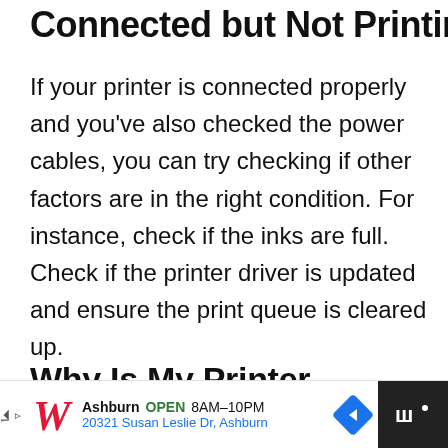Connected but Not Printing?
If your printer is connected properly and you've also checked the power cables, you can try checking if other factors are in the right condition. For instance, check if the inks are full. Check if the printer driver is updated and ensure the print queue is cleared up.
Why Is My Printer Spooling and Not Printing?
[Figure (other): Advertisement banner for Walgreens: Ashburn OPEN 8AM-10PM, 20321 Susan Leslie Dr, Ashburn]